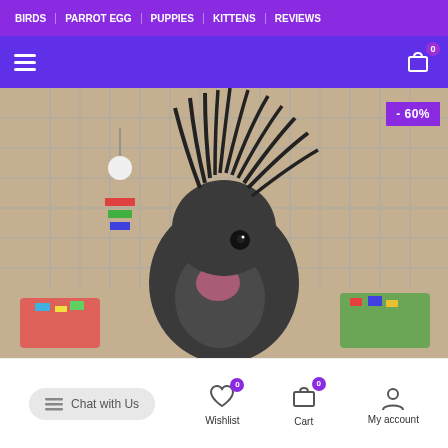BIRDS | PARROT EGG | PUPPIES | KITTENS | REVIEWS
[Figure (screenshot): Purple navigation bar with hamburger menu icon on left and shopping bag icon with '0' badge on right]
[Figure (photo): A black cockatoo with dramatic raised crest feathers, photographed in a pet store with colorful bird toys visible in the background. A purple '-60%' discount badge is in the top right corner.]
Chat with Us | Wishlist 0 | Cart 0 | My account